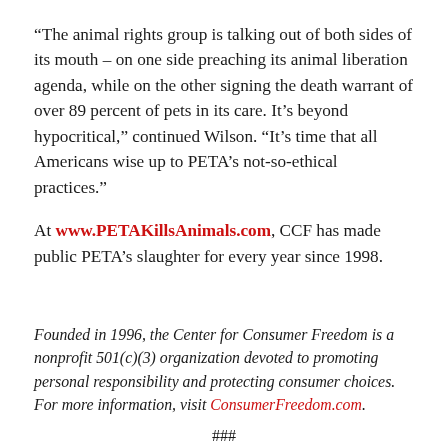“The animal rights group is talking out of both sides of its mouth – on one side preaching its animal liberation agenda, while on the other signing the death warrant of over 89 percent of pets in its care. It’s beyond hypocritical,” continued Wilson. “It’s time that all Americans wise up to PETA’s not-so-ethical practices.”
At www.PETAKillsAnimals.com, CCF has made public PETA’s slaughter for every year since 1998.
Founded in 1996, the Center for Consumer Freedom is a nonprofit 501(c)(3) organization devoted to promoting personal responsibility and protecting consumer choices. For more information, visit ConsumerFreedom.com.
###